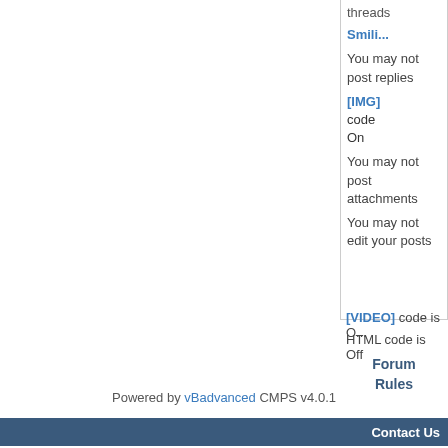threads
Smilies are On
You may not post replies
[IMG] code is On
You may not post attachments
You may not edit your posts
[VIDEO] code is On
HTML code is Off
Forum Rules
Powered by vBadvanced CMPS v4.0.1
Contact Us
All times are GMT -4. The time now is 06:10 AM.
Powered by vBulletin® Version 4.2.0
Copyright ©2000 - 2022, Jelsoft Enterprises Ltd.
HTML Help provided by HTML Help Central.